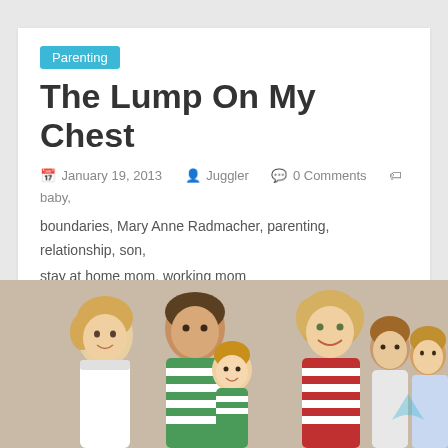Parenting
The Lump On My Chest
January 19, 2013   Juggler   0 Comments   baby, boundaries, Mary Anne Radmacher, parenting, relationship, son, stay at home mom, working mom
I'm sitting in bed typing with one hand, still wearing my sweatshirt because I have this wonderful lump of a
Read more
[Figure (photo): Family photo showing parents and children in red and green striped pajamas on a beige/tan background]